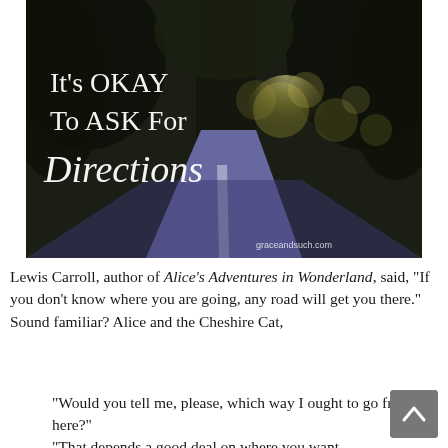[Figure (photo): A dark road at dusk lined with trees, bokeh lights in background. Overlaid text reads: It's OKAY To ASK For Directions. Attribution: graceandsuch.com]
Lewis Carroll, author of Alice's Adventures in Wonderland, said, "If you don't know where you are going, any road will get you there." Sound familiar? Alice and the Cheshire Cat,
"Would you tell me, please, which way I ought to go from here?"
"That depends a good deal on where you want